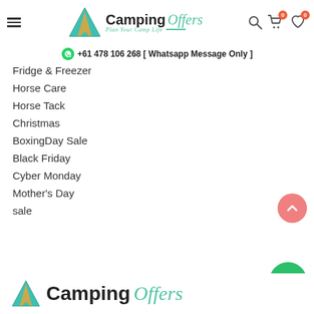[Figure (logo): Camping Offers website header with tent logo, hamburger menu, search icon, cart (0), and wishlist (0) icons]
+61 478 106 268 [ Whatsapp Message Only ]
Fridge & Freezer
Horse Care
Horse Tack
Christmas
BoxingDay Sale
Black Friday
Cyber Monday
Mother's Day
sale
[Figure (logo): Camping Offers footer logo with tent icon and brand name]